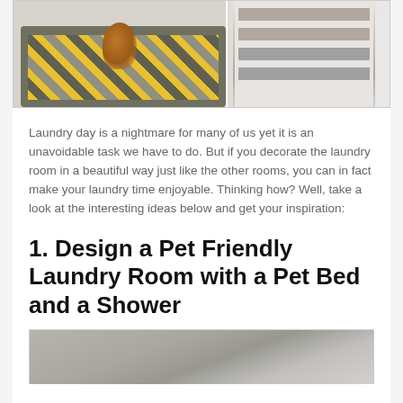[Figure (photo): Two photos side by side: left shows a dog/cat sitting on a yellow and grey patterned rug on a hexagonal tile floor; right shows a laundry room with stacked washer/dryer units and white shelving.]
Laundry day is a nightmare for many of us yet it is an unavoidable task we have to do. But if you decorate the laundry room in a beautiful way just like the other rooms, you can in fact make your laundry time enjoyable. Thinking how? Well, take a look at the interesting ideas below and get your inspiration:
1. Design a Pet Friendly Laundry Room with a Pet Bed and a Shower
[Figure (photo): Partially visible photo at bottom of page showing a laundry room interior, appears grey/neutral toned.]